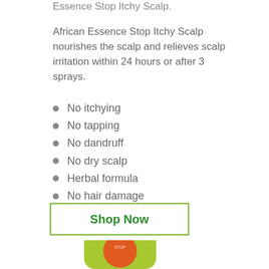Essence Stop Itchy Scalp.
African Essence Stop Itchy Scalp nourishes the scalp and relieves scalp irritation within 24 hours or after 3 sprays.
No itchying
No tapping
No dandruff
No dry scalp
Herbal formula
No hair damage
Shop Now
[Figure (photo): A green bottle of African Essence Stop Itchy Scalp product with an orange circular label, partially visible at the bottom of the page.]